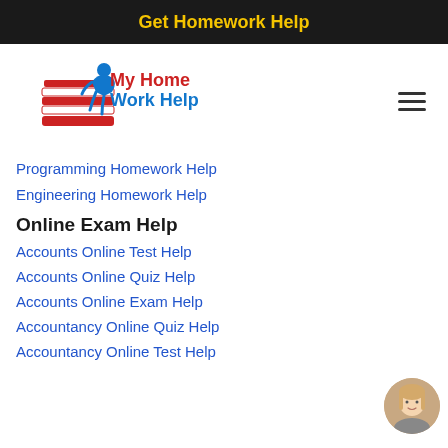Get Homework Help
[Figure (logo): My Home Work Help logo with a person figure on stacked books]
Programming Homework Help
Engineering Homework Help
Online Exam Help
Accounts Online Test Help
Accounts Online Quiz Help
Accounts Online Exam Help
Accountancy Online Quiz Help
Accountancy Online Test Help
[Figure (photo): Chat avatar of a woman]